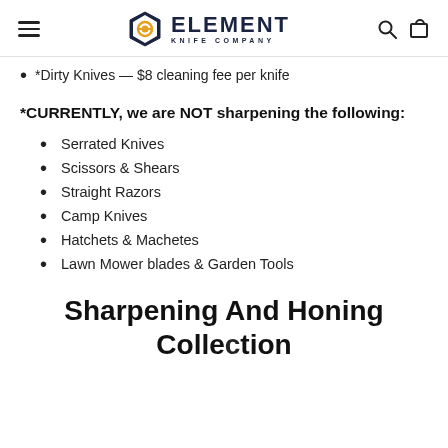Element Knife Company
*Dirty Knives — $8 cleaning fee per knife
*CURRENTLY, we are NOT sharpening the following:
Serrated Knives
Scissors & Shears
Straight Razors
Camp Knives
Hatchets & Machetes
Lawn Mower blades & Garden Tools
Sharpening And Honing Collection